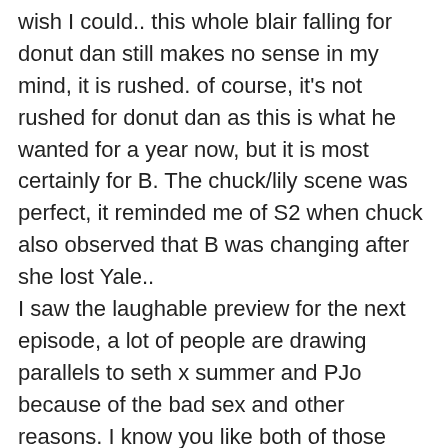wish I could.. this whole blair falling for donut dan still makes no sense in my mind, it is rushed. of course, it's not rushed for donut dan as this is what he wanted for a year now, but it is most certainly for B. The chuck/lily scene was perfect, it reminded me of S2 when chuck also observed that B was changing after she lost Yale..
I saw the laughable preview for the next episode, a lot of people are drawing parallels to seth x summer and PJo because of the bad sex and other reasons. I know you like both of those ships (esp PJo) so do you have any thoughts about these new comparisons? i'm offended and i never even watched enough of the OC/Dawson's Creek! lol